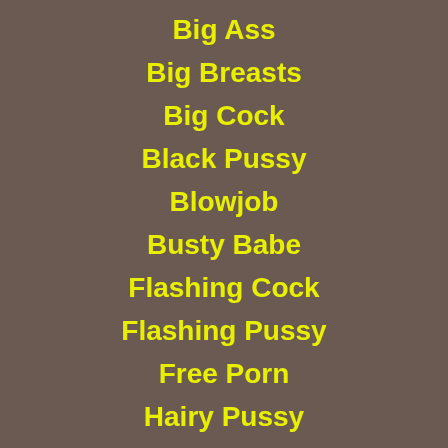Big Ass
Big Breasts
Big Cock
Black Pussy
Blowjob
Busty Babe
Flashing Cock
Flashing Pussy
Free Porn
Hairy Pussy
Indian Nude
Japanese Porn
Nude Amateurs